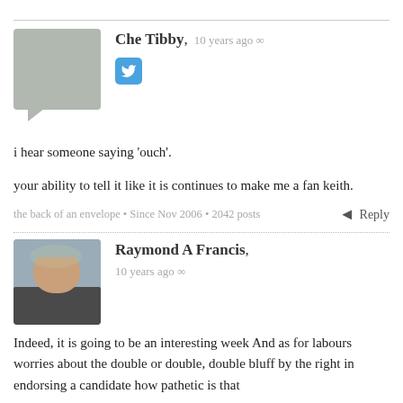Che Tibby, 10 years ago ∞
i hear someone saying 'ouch'.
your ability to tell it like it is continues to make me a fan keith.
the back of an envelope • Since Nov 2006 • 2042 posts
Reply
Raymond A Francis, 10 years ago ∞
Indeed, it is going to be an interesting week And as for labours worries about the double or double, double bluff by the right in endorsing a candidate how pathetic is that
If David and David or a 54 year old baby boomer as a fresh face are the answer then I feel the wrong question has been asked.